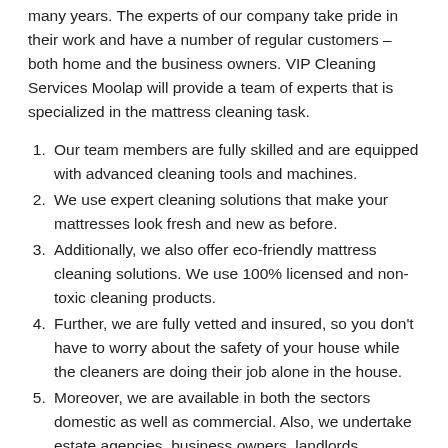many years. The experts of our company take pride in their work and have a number of regular customers – both home and the business owners. VIP Cleaning Services Moolap will provide a team of experts that is specialized in the mattress cleaning task.
Our team members are fully skilled and are equipped with advanced cleaning tools and machines.
We use expert cleaning solutions that make your mattresses look fresh and new as before.
Additionally, we also offer eco-friendly mattress cleaning solutions. We use 100% licensed and non-toxic cleaning products.
Further, we are fully vetted and insured, so you don't have to worry about the safety of your house while the cleaners are doing their job alone in the house.
Moreover, we are available in both the sectors domestic as well as commercial. Also, we undertake estate agencies, business owners, landlords, tenants, and
Further, our services are available 24×7 hours of the day, whenever you call us our friendly customer service will assist in providing a solution to any of your problem.
Additionally, we also provide several offers as well as discounts